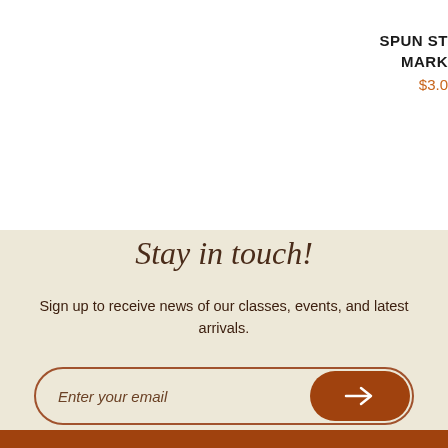SPUN ST
MARK
$3.0
Stay in touch!
Sign up to receive news of our classes, events, and latest arrivals.
Enter your email